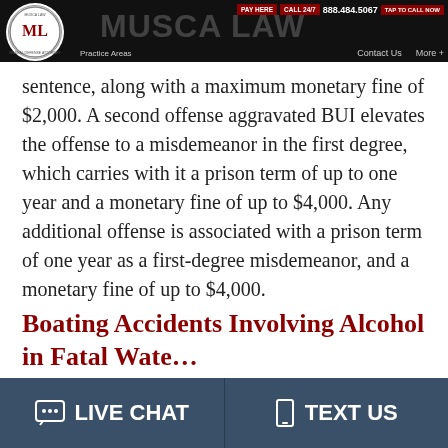Musca Law — navigation bar with logo, PAY HERE, CALL 24/7, 888.484.5067, TAP TO CALL NOW, Contact Us, More +
sentence, along with a maximum monetary fine of $2,000. A second offense aggravated BUI elevates the offense to a misdemeanor in the first degree, which carries with it a prison term of up to one year and a monetary fine of up to $4,000. Any additional offense is associated with a prison term of one year as a first-degree misdemeanor, and a monetary fine of up to $4,000.
Boating Accidents Involving Alcohol in Fatal Wate…
LIVE CHAT   TEXT US